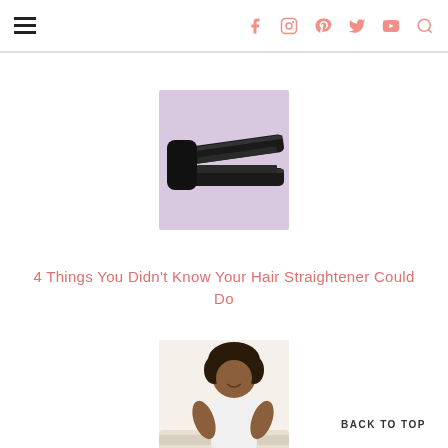Navigation header with hamburger menu and social icons (Facebook, Instagram, Pinterest, Twitter, YouTube, Search)
[Figure (photo): Hair straightener/flat iron on a purple/lavender background]
4 Things You Didn’t Know Your Hair Straightener Could Do
[Figure (photo): A woman with natural hair sitting on a couch, smiling]
BACK TO TOP